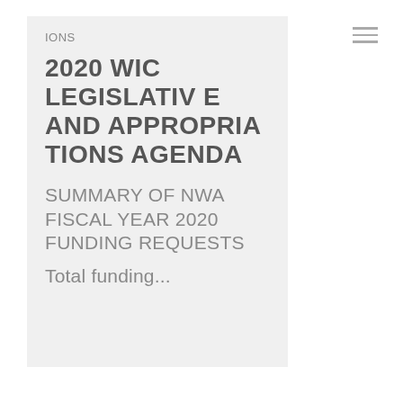IONS
2020 WIC LEGISLATIVE AND APPROPRIATIONS AGENDA
SUMMARY OF NWA FISCAL YEAR 2020 FUNDING REQUESTS
Total funding...